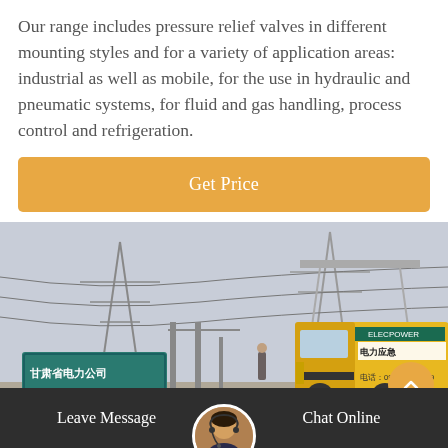Our range includes pressure relief valves in different mounting styles and for a variety of application areas: industrial as well as mobile, for the use in hydraulic and pneumatic systems, for fluid and gas handling, process control and refrigeration.
[Figure (other): Orange 'Get Price' button bar]
[Figure (photo): Outdoor industrial electrical substation with power lines, a teal sign with Chinese text reading 甘肃省电力公司 陇西33线X变电站, and a yellow service truck with Chinese branding and phone number 0930 419 4699]
Leave Message   Chat Online